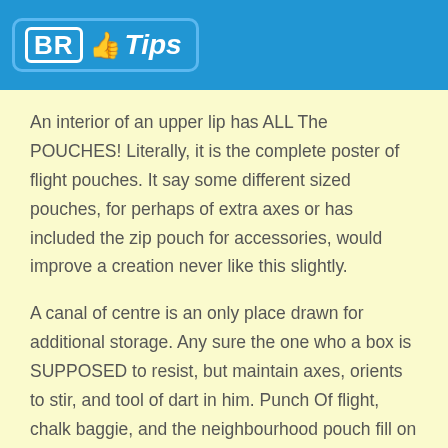BR Tips
An interior of an upper lip has ALL The POUCHES! Literally, it is the complete poster of flight pouches. It say some different sized pouches, for perhaps of extra axes or has included the zip pouch for accessories, would improve a creation never like this slightly.
A canal of centre is an only place drawn for additional storage. Any sure the one who a box is SUPPOSED to resist, but maintain axes, orients to stir, and tool of dart in him. Punch Of flight, chalk baggie, and the neighbourhood pouch fill on a rest of a zone.